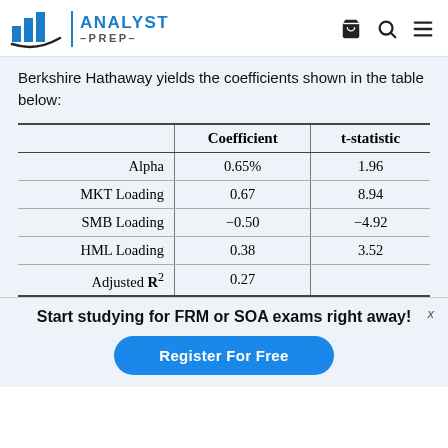ANALYST PREP
Berkshire Hathaway yields the coefficients shown in the table below:
|  | Coefficient | t-statistic |
| --- | --- | --- |
| Alpha | 0.65% | 1.96 |
| MKT Loading | 0.67 | 8.94 |
| SMB Loading | −0.50 | −4.92 |
| HML Loading | 0.38 | 3.52 |
| Adjusted R² | 0.27 |  |
Start studying for FRM or SOA exams right away!
Register For Free